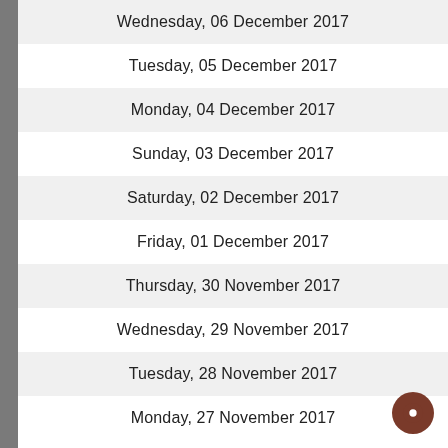Wednesday, 06 December 2017
Tuesday, 05 December 2017
Monday, 04 December 2017
Sunday, 03 December 2017
Saturday, 02 December 2017
Friday, 01 December 2017
Thursday, 30 November 2017
Wednesday, 29 November 2017
Tuesday, 28 November 2017
Monday, 27 November 2017